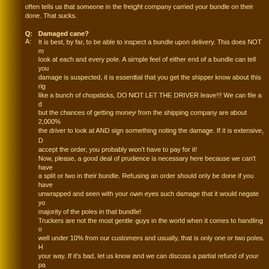often tells us that someone in the freight company carried your bundle on their done. That sucks.
Q: Damaged cane?
A: It is best, by far, to be able to inspect a bundle upon delivery. This does NOT me look at each and every pole. A simple feel of either end of a bundle can tell you damage is suspected, it is essential that you get the shipper know about this rig like a bunch of chopsticks, DO NOT LET THE DRIVER leave!!! We can file a da but the chances of getting money from the shipping company are about 2,000% the driver to look at AND sign something noting the damage. If it is extensive, D accept the order, you probably won't have to pay for it!
Now, please, a good deal of prudence is necessary here because we can't have a split or two in their bundle. Refusing an order should only be done if you have unwrapped and seen with your own eyes such damage that it would negate you majority of the poles in that bundle!
Truckers are not the most gentle guys in the world when it comes to handling o well under 10% from our customers and usually, that is only one or two poles. H your way. If it's bad, let us know and we can discuss a partial refund of your pay new bamboo, you WILL have to pay for shipping a second time. Sorry.] I discus several years ago and he concurred that they had similar issues. These poles a leaf nodes and bug bites, itâs part of the nature of the material we work with
Q: Bug holes?
A: These suck. Bamboo is food and it has a high starch content and invariably, so of what will become your fly rods. I try to locate all bug bites and size them up w around this one?" or "can I get rid of that section and still have enough cane to too many of these, give us a shout!
Q: Shipping to Canada.